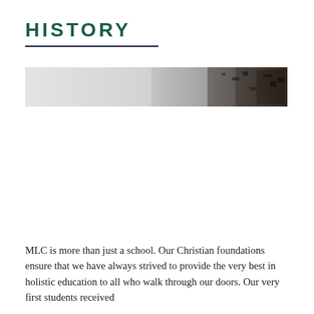HISTORY
[Figure (photo): A horizontal grayscale photograph, fading from light gray on the left to dark textured tones on the right, likely showing a historical outdoor scene or landscape.]
MLC is more than just a school. Our Christian foundations ensure that we have always strived to provide the very best in holistic education to all who walk through our doors. Our very first students received